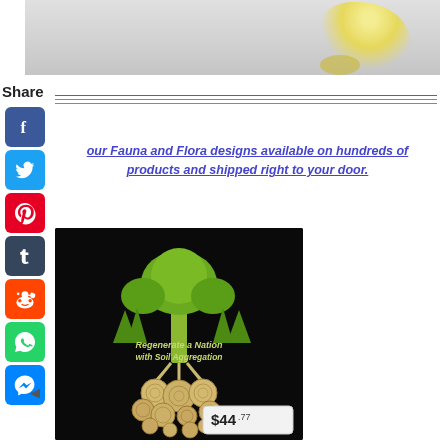[Figure (photo): Top portion of a product photo showing a light gray background with a yellow/cream colored splash or flower shape in the upper right area]
Share
[Figure (infographic): Vertical column of social media share icons: Facebook (blue), Twitter (light blue), Pinterest (red), Tumblr (dark blue), Reddit (orange), WhatsApp (green), Messenger (blue)]
[Figure (illustration): Horizontal divider lines (three lines) separating share section from content]
our Fauna and Flora designs available on hundreds of products and shipped right to your door.
[Figure (photo): Product image on black background showing a green tree with roots merging into circular wood cross-sections, with text 'Regenerate a Nation with Soil Aggregation'. Price tag showing $44.77 in lower right corner.]